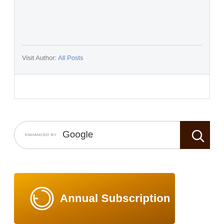[Figure (logo): Surakha Sangathan organization logo — purple square background with a cyan/blue stylized icon of two figures]
Surakha Sangathan
Visit Author:  All Posts
[Figure (screenshot): Google search bar with 'ENHANCED BY Google' text and a dark brown search button with magnifying glass icon]
[Figure (infographic): Annual Subscription banner with gold/amber gradient background, circular refresh/clock icon on left, bold white text reading 'Annual Subscription']